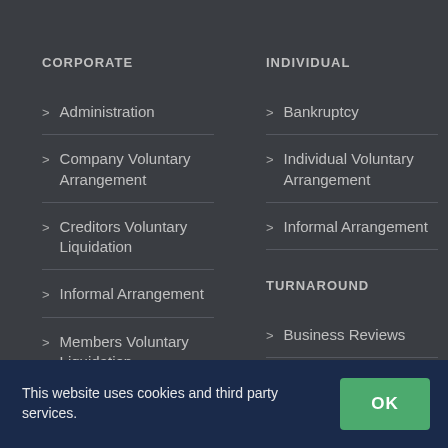CORPORATE
Administration
Company Voluntary Arrangement
Creditors Voluntary Liquidation
Informal Arrangement
Members Voluntary Liquidation
INDIVIDUAL
Bankruptcy
Individual Voluntary Arrangement
Informal Arrangement
TURNAROUND
Business Reviews
Refinancing
This website uses cookies and third party services.